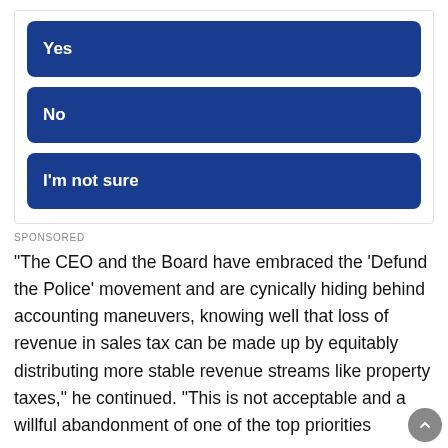Yes
No
I'm not sure
SPONSORED
“The CEO and the Board have embraced the ‘Defund the Police’ movement and are cynically hiding behind accounting maneuvers, knowing well that loss of revenue in sales tax can be made up by equitably distributing more stable revenue streams like property taxes,” he continued. “This is not acceptable and a willful abandonment of one of the top priorities